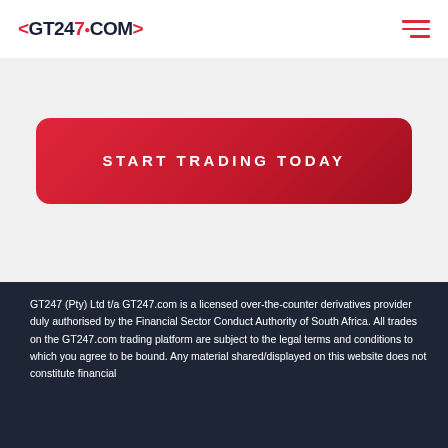<GT247.COM>
[Figure (other): Red CTA button labeled 'Start Trading Today' on a light grey background]
GT247 (Pty) Ltd t/a GT247.com is a licensed over-the-counter derivatives provider duly authorised by the Financial Sector Conduct Authority of South Africa. All trades on the GT247.com trading platform are subject to the legal terms and conditions to which you agree to be bound. Any material shared/displayed on this website does not constitute financial